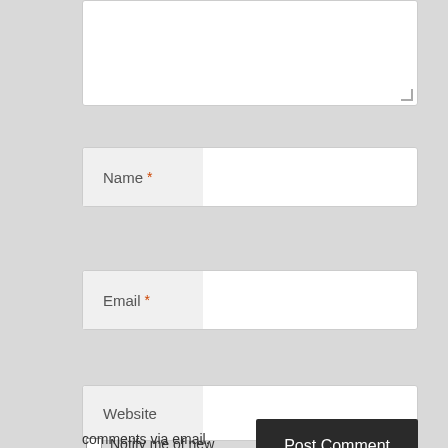[Figure (screenshot): Comment form textarea (top portion, mostly blank white input area with resize handle in bottom-right corner)]
Name *
Email *
Website
Notify me of new comments via email.
Post Comment